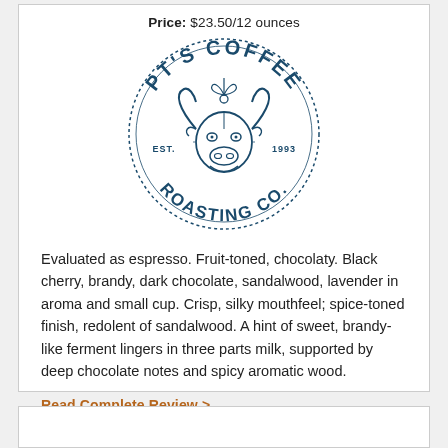Price: $23.50/12 ounces
[Figure (logo): PT's Coffee Roasting Co. logo — circular badge with bull/bison face in the center, text reading PT'S COFFEE arcing on top and ROASTING CO. arcing on bottom, EST. 1993 on either side of the animal, all in dark teal/navy blue.]
Evaluated as espresso. Fruit-toned, chocolaty. Black cherry, brandy, dark chocolate, sandalwood, lavender in aroma and small cup. Crisp, silky mouthfeel; spice-toned finish, redolent of sandalwood. A hint of sweet, brandy-like ferment lingers in three parts milk, supported by deep chocolate notes and spicy aromatic wood.
Read Complete Review >
Visit PT's Coffee Roasting >